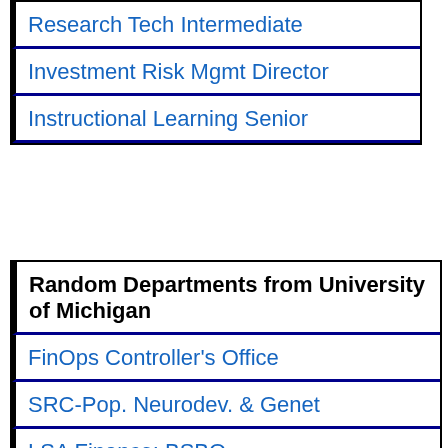| Research Tech Intermediate |
| Investment Risk Mgmt Director |
| Instructional Learning Senior |
| Random Departments from University of Michigan |
| --- |
| FinOps Controller's Office |
| SRC-Pop. Neurodev. & Genet |
| LSA Finance: BSBO |
| MM Call Cntr-Surg-MultiSurg |
| Library Operations - PC & A |
| MM UH-AES Physician Assistant |
| MM UH CVC 5C |